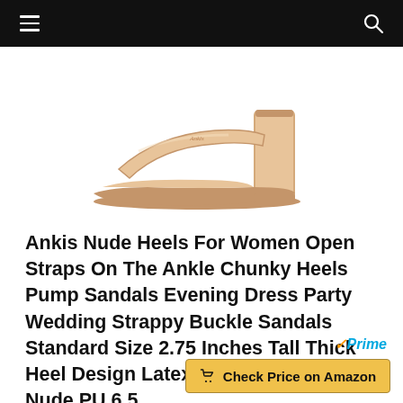≡  🔍
[Figure (photo): A nude/blush colored chunky block heel sandal with a single toe strap, photographed on a white background from the side angle.]
Ankis Nude Heels For Women Open Straps On The Ankle Chunky Heels Pump Sandals Evening Dress Party Wedding Strappy Buckle Sandals Standard Size 2.75 Inches Tall Thick Heel Design Latex Insole 2.75 Inches Nude PU 6.5
✓Prime
🛒 Check Price on Amazon